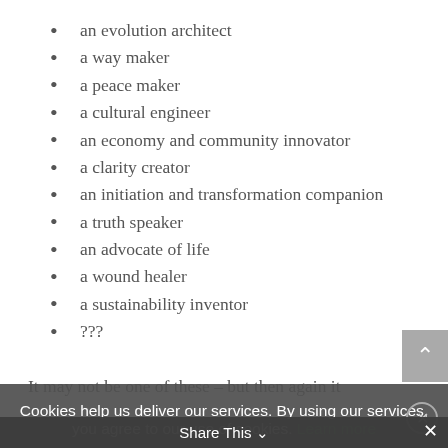an evolution architect
a way maker
a peace maker
a cultural engineer
an economy and community innovator
a clarity creator
an initiation and transformation companion
a truth speaker
an advocate of life
a wound healer
a sustainability inventor
???
It may not be one of these – but then again it
Cookies help us deliver our services. By using our services, you agree to our use of cookies. Learn more
Share This